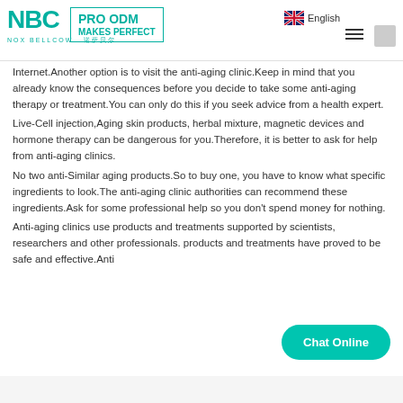NBC NOX BELLCOW | PRO ODM MAKES PERFECT | English
Internet.Another option is to visit the anti-aging clinic.Keep in mind that you already know the consequences before you decide to take some anti-aging therapy or treatment.You can only do this if you seek advice from a health expert.
Live-Cell injection,Aging skin products, herbal mixture, magnetic devices and hormone therapy can be dangerous for you.Therefore, it is better to ask for help from anti-aging clinics.
No two anti-Similar aging products.So to buy one, you have to know what specific ingredients to look.The anti-aging clinic authorities can recommend these ingredients.Ask for some professional help so you don't spend money for nothing.
Anti-aging clinics use products and treatments supported by scientists, researchers and other professionals. products and treatments have proved to be safe and effective.Anti